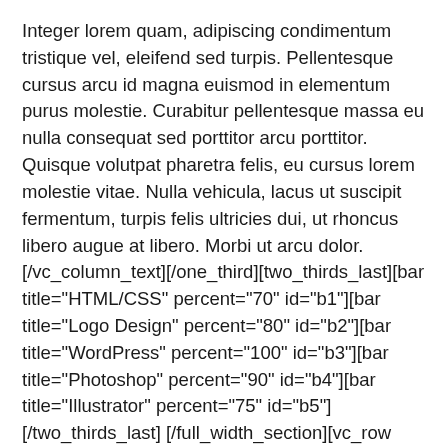Integer lorem quam, adipiscing condimentum tristique vel, eleifend sed turpis. Pellentesque cursus arcu id magna euismod in elementum purus molestie. Curabitur pellentesque massa eu nulla consequat sed porttitor arcu porttitor. Quisque volutpat pharetra felis, eu cursus lorem molestie vitae. Nulla vehicula, lacus ut suscipit fermentum, turpis felis ultricies dui, ut rhoncus libero augue at libero. Morbi ut arcu dolor. [/vc_column_text][/one_third][two_thirds_last][bar title="HTML/CSS" percent="70" id="b1"][bar title="Logo Design" percent="80" id="b2"][bar title="WordPress" percent="100" id="b3"][bar title="Photoshop" percent="90" id="b4"][bar title="Illustrator" percent="75" id="b5"][/two_thirds_last] [/full_width_section][vc_row type="full_width_background" bg_position="left top" bg_repeat="no-repeat" text_color="dark" text_align="left" top_padding="80" bottom_padding="30"][vc_column width="1/1"